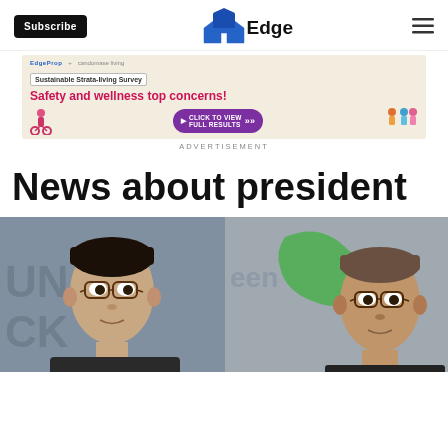Subscribe | EdgeProp
[Figure (infographic): Advertisement banner for EdgeProp and Candomase Living Sustainable Strata-living Survey. Headline: Safety and wellness top concerns! with a purple CTA button: CLICK TO VIEW FULL RESULTS. People illustrations on right side.]
ADVERTISEMENT
News about president
[Figure (photo): Two men photographed side by side. Left: Asian man with glasses in front of a grey background. Right: Man with glasses in front of a green logo background.]